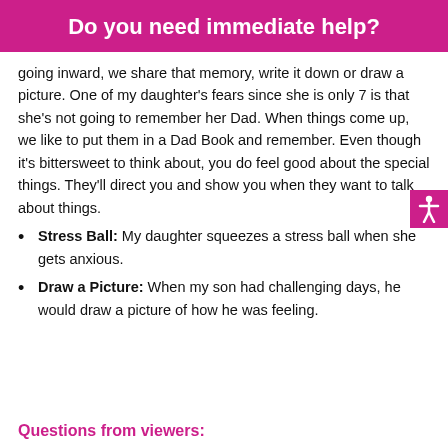Do you need immediate help?
going inward, we share that memory, write it down or draw a picture. One of my daughter's fears since she is only 7 is that she's not going to remember her Dad. When things come up, we like to put them in a Dad Book and remember. Even though it's bittersweet to think about, you do feel good about the special things. They'll direct you and show you when they want to talk about things.
Stress Ball: My daughter squeezes a stress ball when she gets anxious.
Draw a Picture: When my son had challenging days, he would draw a picture of how he was feeling.
Questions from viewers: